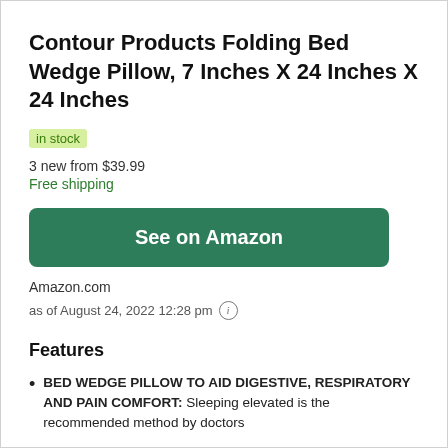Contour Products Folding Bed Wedge Pillow, 7 Inches X 24 Inches X 24 Inches
in stock
3 new from $39.99
Free shipping
See on Amazon
Amazon.com
as of August 24, 2022 12:28 pm
Features
BED WEDGE PILLOW TO AID DIGESTIVE, RESPIRATORY AND PAIN COMFORT: Sleeping elevated is the recommended method by doctors